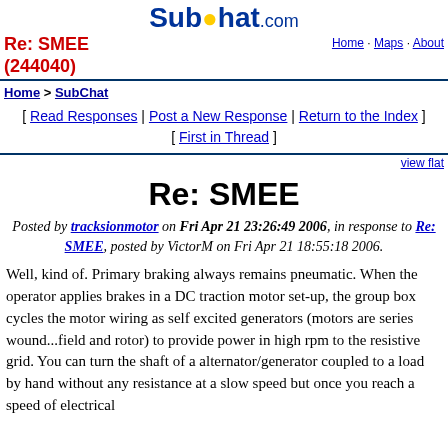[Figure (logo): SubChat.com logo with pac-man style graphic]
Re: SMEE (244040)
Home · Maps · About
Home > SubChat
[ Read Responses | Post a New Response | Return to the Index ] [ First in Thread ]
view flat
Re: SMEE
Posted by tracksionmotor on Fri Apr 21 23:26:49 2006, in response to Re: SMEE, posted by VictorM on Fri Apr 21 18:55:18 2006.
Well, kind of. Primary braking always remains pneumatic. When the operator applies brakes in a DC traction motor set-up, the group box cycles the motor wiring as self excited generators (motors are series wound...field and rotor) to provide power in high rpm to the resistive grid. You can turn the shaft of a alternator/generator coupled to a load by hand without any resistance at a slow speed but once you reach a speed of electrical